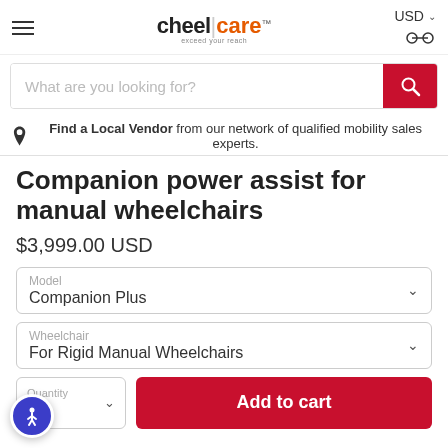cheel|care™ — USD
What are you looking for?
Find a Local Vendor from our network of qualified mobility sales experts.
Companion power assist for manual wheelchairs
$3,999.00 USD
Model: Companion Plus
Wheelchair: For Rigid Manual Wheelchairs
Quantity: 1
Add to cart